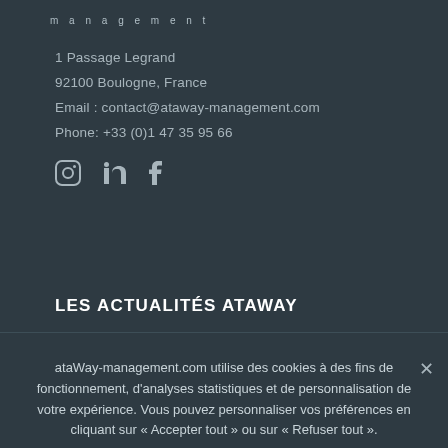[Figure (logo): Ataway management logo text in light grey spaced lettering]
1 Passage Legrand
92100 Boulogne, France
Email : contact@ataway-management.com
Phone: +33 (0)1 47 35 95 66
[Figure (illustration): Social media icons: Instagram, LinkedIn, Facebook]
LES ACTUALITÉS ATAWAY
ataWay-management.com utilise des cookies à des fins de fonctionnement, d'analyses statistiques et de personnalisation de votre expérience. Vous pouvez personnaliser vos préférences en cliquant sur « Accepter tout » ou sur « Refuser tout ».
Accepter tout
Refuser tout